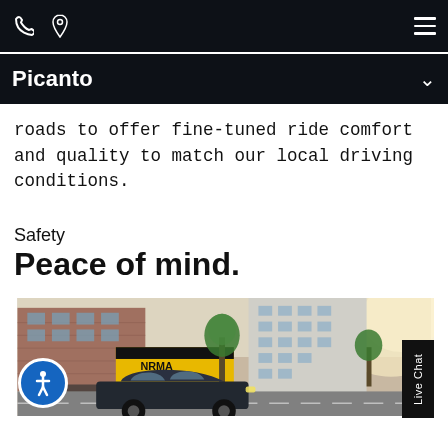[Navigation bar with phone icon, location icon, and hamburger menu]
Picanto
roads to offer fine-tuned ride comfort and quality to match our local driving conditions.
Safety
Peace of mind.
[Figure (photo): Street scene with a Kia Picanto car driving through city streets, buildings and a NRMA or RAA branded yellow and black shop front visible, trees in background with sunlight]
Live Chat